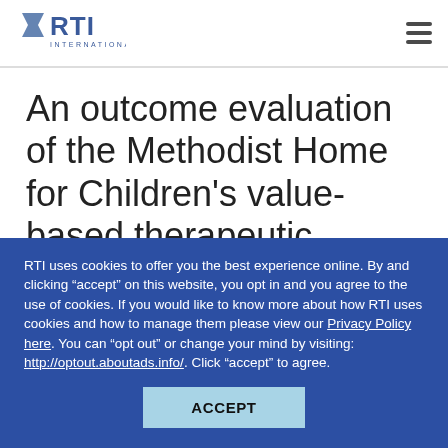RTI International
An outcome evaluation of the Methodist Home for Children's value-based therapeutic environment model
RTI uses cookies to offer you the best experience online. By and clicking “accept” on this website, you opt in and you agree to the use of cookies. If you would like to know more about how RTI uses cookies and how to manage them please view our Privacy Policy here. You can “opt out” or change your mind by visiting: http://optout.aboutads.info/. Click “accept” to agree.
ACCEPT